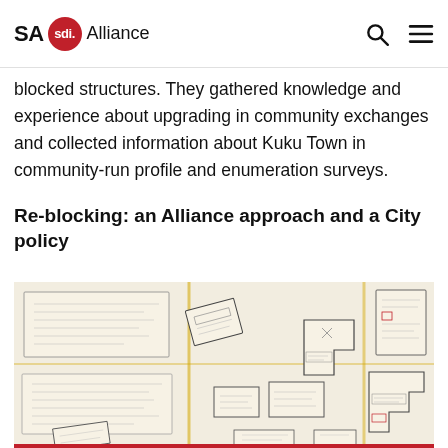SA sdi Alliance
blocked structures. They gathered knowledge and experience about upgrading in community exchanges and collected information about Kuku Town in community-run profile and enumeration surveys.
Re-blocking: an Alliance approach and a City policy
[Figure (photo): Hand-drawn community map showing block layouts and land parcel diagrams with annotations, taped together on sheets of paper.]